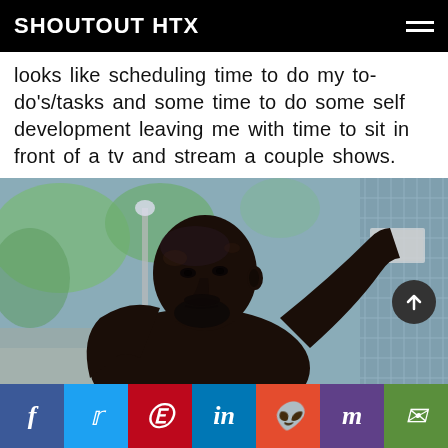SHOUTOUT HTX
looks like scheduling time to do my to-do's/tasks and some time to do some self development leaving me with time to sit in front of a tv and stream a couple shows.
[Figure (photo): Portrait photo of a muscular shirtless Black man with a shaved head and beard, leaning against a chain-link fence outdoors, with blurred green trees in the background.]
f  t  p  in  reddit  mix  email — social share bar